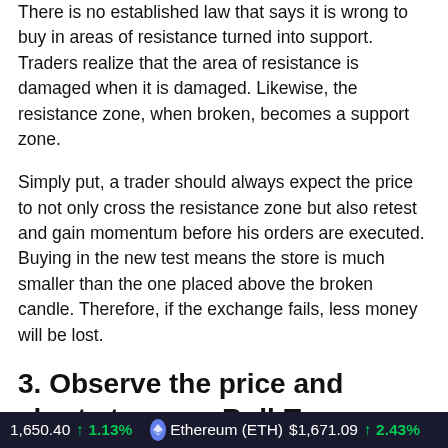There is no established law that says it is wrong to buy in areas of resistance turned into support. Traders realize that the area of resistance is damaged when it is damaged. Likewise, the resistance zone, when broken, becomes a support zone.
Simply put, a trader should always expect the price to not only cross the resistance zone but also retest and gain momentum before his orders are executed. Buying in the new test means the store is much smaller than the one placed above the broken candle. Therefore, if the exchange fails, less money will be lost.
3. Observe the price and charts to see a Bull-Trap come and go:
By observing the price action, traders can avoid bullish-
1,650.40  ↑ 1.13%    Ethereum (ETH)  $1,671.09  ↑ 2.43%